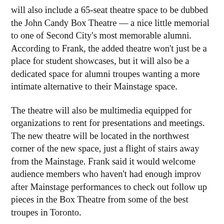will also include a 65-seat theatre space to be dubbed the John Candy Box Theatre — a nice little memorial to one of Second City's most memorable alumni. According to Frank, the added theatre won't just be a place for student showcases, but it will also be a dedicated space for alumni troupes wanting a more intimate alternative to their Mainstage space.
The theatre will also be multimedia equipped for organizations to rent for presentations and meetings. The new theatre will be located in the northwest corner of the new space, just a flight of stairs away from the Mainstage.  Frank said it would welcome audience members who haven't had enough improv after Mainstage performances to check out follow up pieces in the Box Theatre from some of the best troupes in Toronto.
As for classes, Second City is expanding their range of training with the aforementioned Green Screen studio helping to provide a more nuanced approach to their onscreen programs. It'll also provide assets like storyboarding, editing and